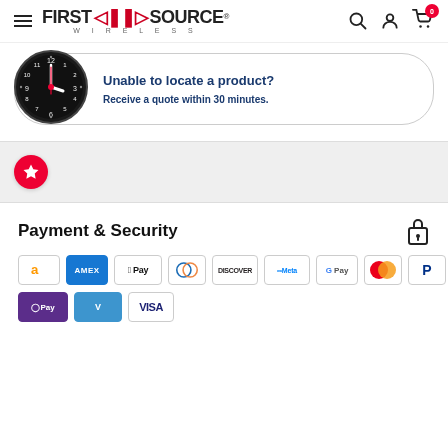[Figure (screenshot): First Source Wireless website header with hamburger menu, logo, search, account, and cart icons]
[Figure (infographic): Banner with clock image: Unable to locate a product? Receive a quote within 30 minutes.]
[Figure (infographic): Red circle with star icon in a gray divider area]
Payment & Security
[Figure (infographic): Payment icons: Amazon, AMEX, Apple Pay, Diners Club, Discover, Meta Pay, Google Pay, Mastercard, PayPal, OPay, Venmo, Visa]